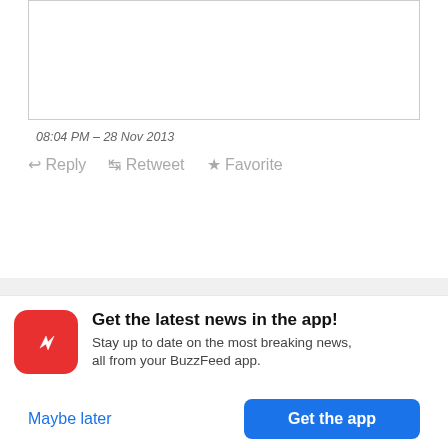08:04 PM – 28 Nov 2013
Reply   Retweet   Favorite
[Figure (photo): Profile photo of elan gale, a person with curly dark hair holding something]
elan gale
@theyearofelan
My response to "Diane" in 7A
[Figure (photo): Partial photo of a note/paper with red design in corner, handwritten text visible]
[Figure (logo): BuzzFeed app icon - red circle with white arrow]
Get the latest news in the app! Stay up to date on the most breaking news, all from your BuzzFeed app.
Maybe later
Get the app